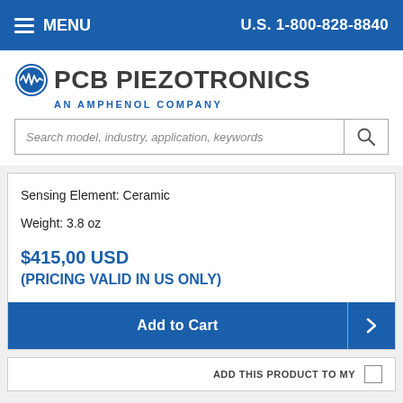MENU   U.S. 1-800-828-8840
[Figure (logo): PCB Piezotronics - An Amphenol Company logo with blue circle waveform icon]
Search model, industry, application, keywords
Sensing Element: Ceramic
Weight: 3.8 oz
$415.00 USD
(PRICING VALID IN US ONLY)
Add to Cart
ADD THIS PRODUCT TO MY